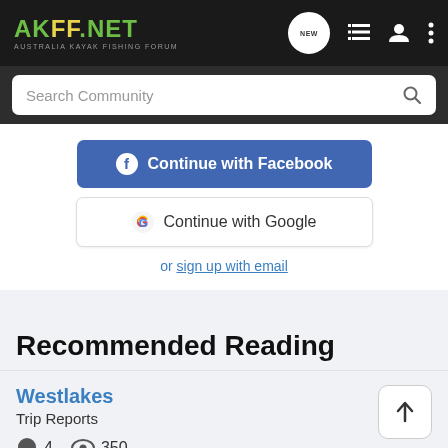AKFF.NET AUSTRALIA KAYAK FISHING FORUM
Search Community
[Figure (screenshot): Continue with Facebook button (blue) and Continue with Google button (white) login options]
or sign up with email
Recommended Reading
Westlakes
Trip Reports
4  350
Swamp, updated Apr 22, 2009